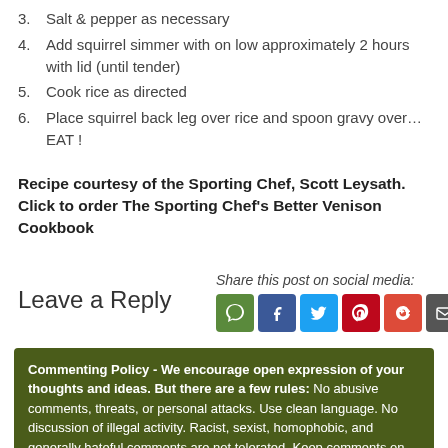3. Salt & pepper as necessary
4. Add squirrel simmer with on low approximately 2 hours with lid (until tender)
5. Cook rice as directed
6. Place squirrel back leg over rice and spoon gravy over…EAT !
Recipe courtesy of the Sporting Chef, Scott Leysath. Click to order The Sporting Chef's Better Venison Cookbook
Leave a Reply
Share this post on social media:
Commenting Policy - We encourage open expression of your thoughts and ideas. But there are a few rules: No abusive comments, threats, or personal attacks. Use clean language. No discussion of illegal activity. Racist, sexist, homophobic, and generally hateful comments are not tolerated. Keep comments on topic. Please don't spam.
While we reserve the right to remove or modify comments at our sole